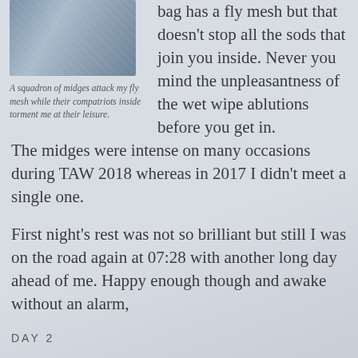[Figure (photo): Close-up photo of blue-grey fabric or sleeping bag material with creases and folds]
A squadron of midges attack my fly mesh while their compatriots inside torment me at their leisure.
bag has a fly mesh but that doesn't stop all the sods that join you inside. Never you mind the unpleasantness of the wet wipe ablutions before you get in. The midges were intense on many occasions during TAW 2018 whereas in 2017 I didn't meet a single one.
First night's rest was not so brilliant but still I was on the road again at 07:28 with another long day ahead of me. Happy enough though and awake without an alarm,
DAY 2